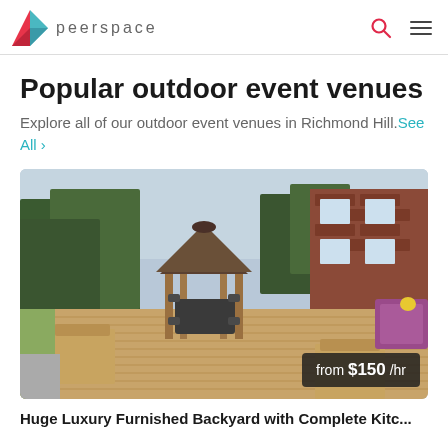peerspace
Popular outdoor event venues
Explore all of our outdoor event venues in Richmond Hill. See All ›
[Figure (photo): Outdoor luxury backyard deck with a wooden gazebo, patio furniture, and a red brick house in the background. Price badge reads 'from $150 /hr'.]
Huge Luxury Furnished Backyard with Complete Kitc...